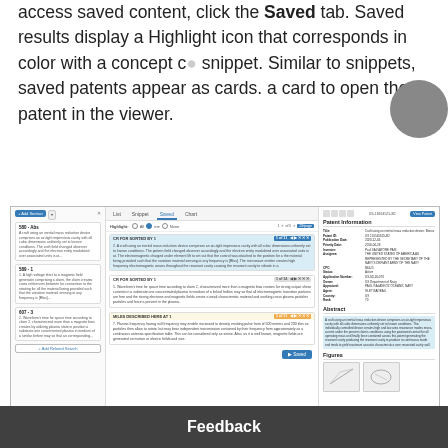access saved content, click the Saved tab. Saved results display a Highlight icon that corresponds in color with a concept snippet. Similar to snippets, saved patents appear as cards. Click a card to open the patent in the viewer.
[Figure (screenshot): Screenshot of a patent search application showing the Saved tab selected in the middle panel with three result cards highlighted in blue and orange, and a Patent Information panel on the right showing title, patent ID, inventors, abstract, and figures.]
Chart
Use the Chart tab to gather and organize content as a claim chart. You can expo
Feedback